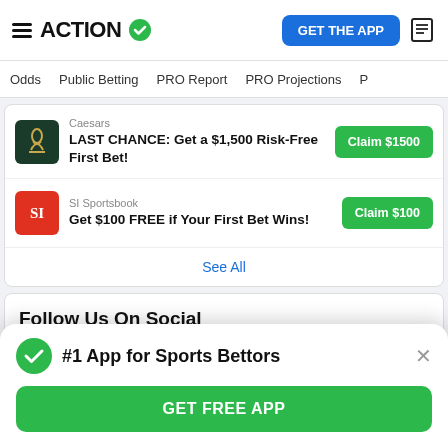ACTION
Odds | Public Betting | PRO Report | PRO Projections
Caesars
LAST CHANCE: Get a $1,500 Risk-Free First Bet!
Claim $1500
SI Sportsbook
Get $100 FREE if Your First Bet Wins!
Claim $100
See All
Follow Us On Social
#1 App for Sports Bettors
GET FREE APP